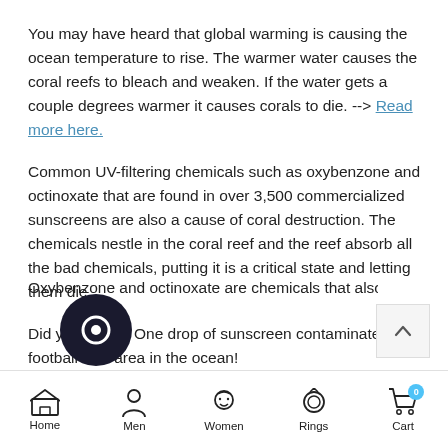You may have heard that global warming is causing the ocean temperature to rise. The warmer water causes the coral reefs to bleach and weaken. If the water gets a couple degrees warmer it causes corals to die. --> Read more here.
Common UV-filtering chemicals such as oxybenzone and octinoxate that are found in over 3,500 commercialized sunscreens are also a cause of coral destruction. The chemicals nestle in the coral reef and the reef absorb all the bad chemicals, putting it is a critical state and letting them die.
Did you know? One drop of sunscreen contaminates a football size area in the ocean!
Oxybenzone and octinoxate are chemicals that also allow
Home  Men  Women  Rings  Cart